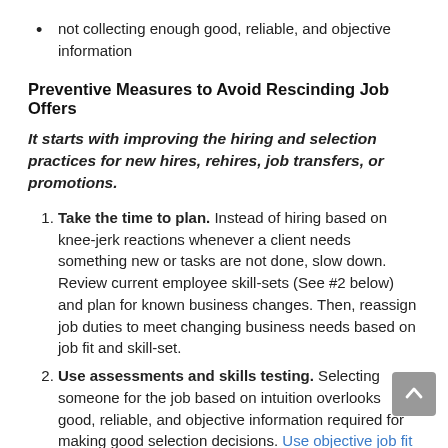not collecting enough good, reliable, and objective information
Preventive Measures to Avoid Rescinding Job Offers
It starts with improving the hiring and selection practices for new hires, rehires, job transfers, or promotions.
Take the time to plan. Instead of hiring based on knee-jerk reactions whenever a client needs something new or tasks are not done, slow down. Review current employee skill-sets (See #2 below) and plan for known business changes. Then, reassign job duties to meet changing business needs based on job fit and skill-set.
Use assessments and skills testing. Selecting someone for the job based on intuition overlooks good, reliable, and objective information required for making good selection decisions. Use objective job fit assessments and job match patterns to determine fit with the job responsibilities. Use skill testing to determine level and ability to use the skills. This goes beyond “certifications” and “education degrees.” This reduces unnecessary job offers, while promoting job